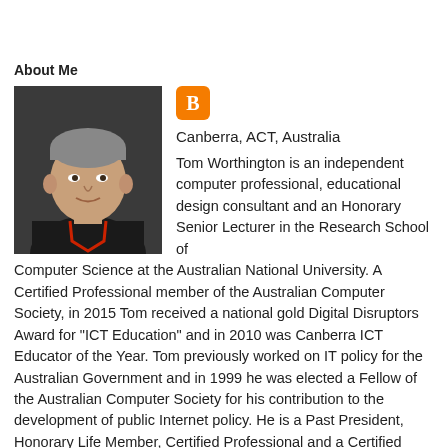About Me
[Figure (photo): Profile photo of Tom Worthington, a middle-aged man with short grey hair wearing a dark shirt]
Canberra, ACT, Australia
Tom Worthington is an independent computer professional, educational design consultant and an Honorary Senior Lecturer in the Research School of Computer Science at the Australian National University. A Certified Professional member of the Australian Computer Society, in 2015 Tom received a national gold Digital Disruptors Award for "ICT Education" and in 2010 was Canberra ICT Educator of the Year. Tom previously worked on IT policy for the Australian Government and in 1999 he was elected a Fellow of the Australian Computer Society for his contribution to the development of public Internet policy. He is a Past President, Honorary Life Member, Certified Professional and a Certified Computer Professional of the society as well as a Fellow of the Higher Education Academy, and a member of the Institute of Electrical and Electronics Engineers. Tom has a Masters of Education (specializing in Distance Education) from Athabasca